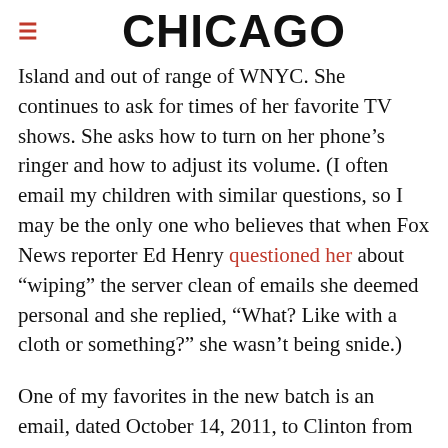CHICAGO
Island and out of range of WNYC. She continues to ask for times of her favorite TV shows. She asks how to turn on her phone’s ringer and how to adjust its volume. (I often email my children with similar questions, so I may be the only one who believes that when Fox News reporter Ed Henry questioned her about “wiping” the server clean of emails she deemed personal and she replied, “What? Like with a cloth or something?” she wasn’t being snide.)
One of my favorites in the new batch is an email, dated October 14, 2011, to Clinton from Cheryl Mills containing three “talking points” for an anticipated meeting with Ellen DeGeneres at a Hollywood Bowl birthday party for Bill. “Should you see [DeGeneres]